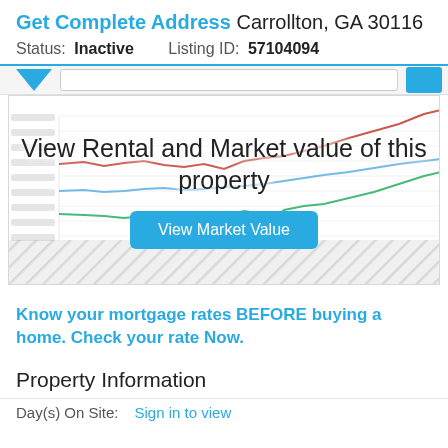Get Complete Address Carrollton, GA 30116
Status: Inactive   Listing ID: 57104094
[Figure (line-chart): Blurred line chart showing rental and market value trends over time with three lines (red, blue, green). Overlaid with text 'View Rental and Market value of this property' and a 'View Market Value' button. Bottom portion has a diagonal hatched/blurred area indicating locked content.]
Know your mortgage rates BEFORE buying a home. Check your rate Now.
Property Information
Day(s) On Site:   Sign in to view